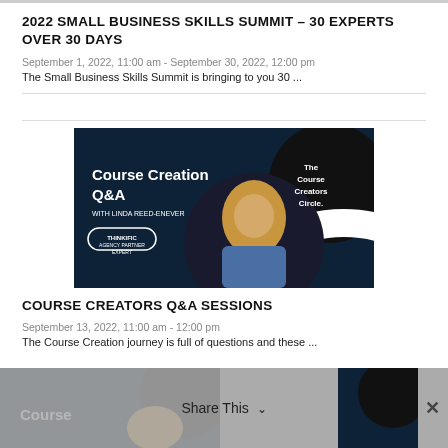2022 SMALL BUSINESS SKILLS SUMMIT – 30 EXPERTS OVER 30 DAYS
September 1, 2022, 11:00 am - September 30, 2022, 12:00 pm
The Small Business Skills Summit is bringing to you 30 ...
[Figure (photo): Course Creation Q&A with Linda Reed-Enever - The Course Creators Circle. Shows a woman with short blonde hair against a dark navy background with white text and a circular black badge.]
COURSE CREATORS Q&A SESSIONS
September 13, 2022, 11:00 am - 12:00 pm
The Course Creation journey is full of questions and these ...
[Figure (photo): Partial course creation image with Share This overlay bar at the bottom.]